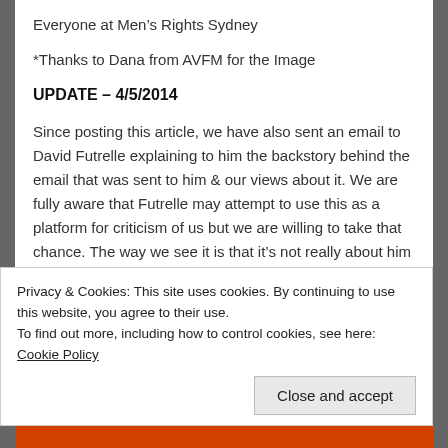Everyone at Men’s Rights Sydney
*Thanks to Dana from AVFM for the Image
UPDATE – 4/5/2014
Since posting this article, we have also sent an email to David Futrelle explaining to him the backstory behind the email that was sent to him & our views about it. We are fully aware that Futrelle may attempt to use this as a platform for criticism of us but we are willing to take that chance. The way we see it is that it’s not really about him but about us, about holding ourselves to a higher moral standard than those who oppose us hold
Privacy & Cookies: This site uses cookies. By continuing to use this website, you agree to their use.
To find out more, including how to control cookies, see here: Cookie Policy
Close and accept